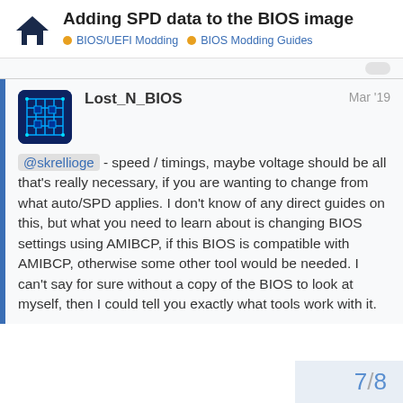Adding SPD data to the BIOS image
BIOS/UEFI Modding  BIOS Modding Guides
@skrellioge - speed / timings, maybe voltage should be all that's really necessary, if you are wanting to change from what auto/SPD applies. I don't know of any direct guides on this, but what you need to learn about is changing BIOS settings using AMIBCP, if this BIOS is compatible with AMIBCP, otherwise some other tool would be needed. I can't say for sure without a copy of the BIOS to look at myself, then I could tell you exactly what tools work with it.
7 / 8